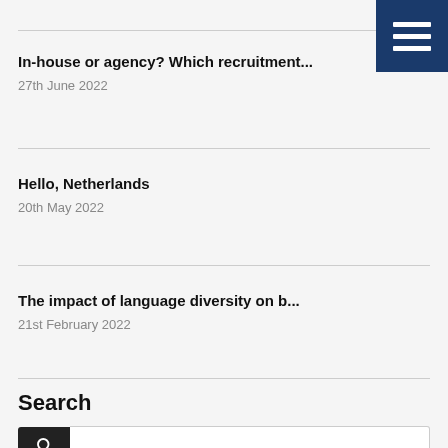In-house or agency? Which recruitment...
27th June 2022
Hello, Netherlands
20th May 2022
The impact of language diversity on b...
21st February 2022
Search